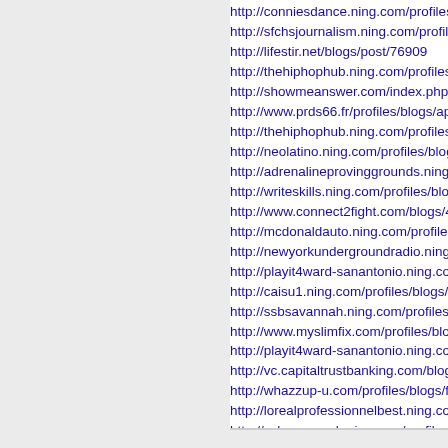http://conniesdance.ning.com/profiles/b
http://sfchsjournalism.ning.com/profiles
http://lifestir.net/blogs/post/76909
http://thehiphophub.ning.com/profiles/b
http://showmeanswer.com/index.php?o
http://www.prds66.fr/profiles/blogs/apic
http://thehiphophub.ning.com/profiles/b
http://neolatino.ning.com/profiles/blogs
http://adrenalineprovinggrounds.ning.c
http://writeskills.ning.com/profiles/blogs
http://www.connect2fight.com/blogs/43
http://mcdonaldauto.ning.com/profiles/b
http://newyorkundergroundradio.ning.c
http://playit4ward-sanantonio.ning.com
http://caisu1.ning.com/profiles/blogs/co
http://ssbsavannah.ning.com/profiles/b
http://www.myslimfix.com/profiles/blogs
http://playit4ward-sanantonio.ning.com
http://vc.capitaltrustbanking.com/blogs
http://whazzup-u.com/profiles/blogs/far
http://lorealprofessionnelbest.ning.com
http://ssbsavannah.ning.com/profiles/b
http://techwarriorteam.ning.com/profile
http://sallieanncooks.ning.com/profiles